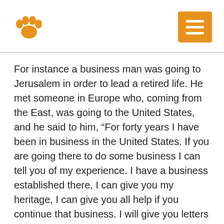[Figure (logo): Orange paw print logo icon]
[Figure (other): Orange hamburger menu button with three white horizontal lines]
For instance a business man was going to Jerusalem in order to lead a retired life. He met someone in Europe who, coming from the East, was going to the United States, and he said to him, “For forty years I have been in business in the United States. If you are going there to do some business I can tell you of my experience. I have a business established there, I can give you my heritage, I can give you all help if you continue that business. I will give you letters of introduction to help you to find sympathetic surroundings”. Another man, also coming from the East, met someone who never had luck and who said to him, “Are you going to the United States? I have been there for sixty years without one friend, with nothing but ill luck”. This disappointed the man. He came there and found the same ill luck of the